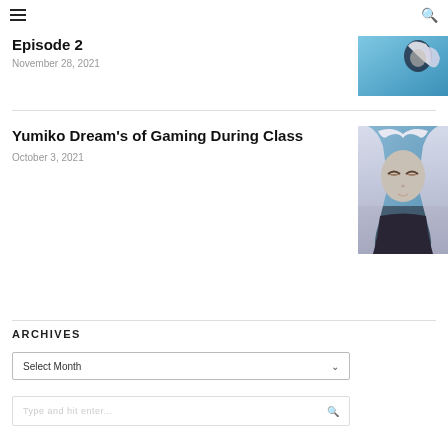☰ [hamburger menu] 🔍 [search icon]
Episode 2
November 28, 2021
[Figure (illustration): Anime character with white/silver hair against blue background - partial thumbnail]
Yumiko Dream's of Gaming During Class
October 3, 2021
[Figure (illustration): Anime character with white/silver hair and tired/sleepy eyes - Yumiko thumbnail]
ARCHIVES
Select Month
Type and hit enter...